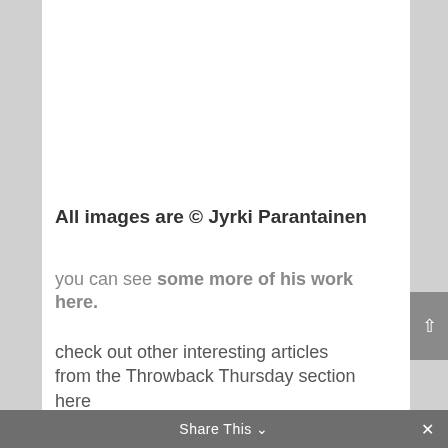[Figure (photo): Gray image area with caption text 'EARTH 4, 1990 JYRKI PARANTAINEN']
EARTH 4, 1990 JYRKI PARANTAINEN
All images are © Jyrki Parantainen
you can see some more of his work here.
check out other interesting articles from the Throwback Thursday section here
Share This ∨  ✕